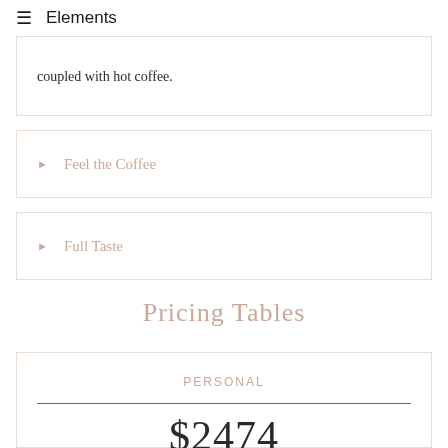≡ Elements
coupled with hot coffee.
▶ Feel the Coffee
▶ Full Taste
Pricing Tables
| PERSONAL |
| --- |
| $2474 |